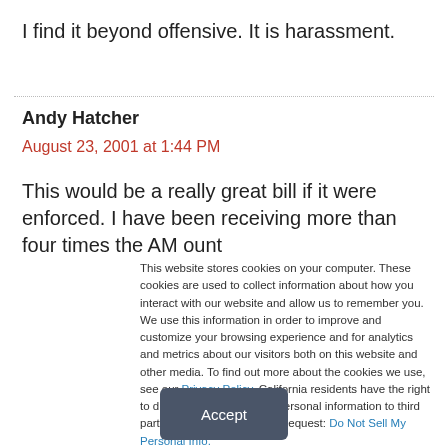I find it beyond offensive. It is harassment.
Andy Hatcher
August 23, 2001 at 1:44 PM
This would be a really great bill if it were enforced. I have been receiving more than four times the AM ount
This website stores cookies on your computer. These cookies are used to collect information about how you interact with our website and allow us to remember you. We use this information in order to improve and customize your browsing experience and for analytics and metrics about our visitors both on this website and other media. To find out more about the cookies we use, see our Privacy Policy. California residents have the right to direct us not to sell their personal information to third parties by filing an Opt-Out Request: Do Not Sell My Personal Info.
Accept